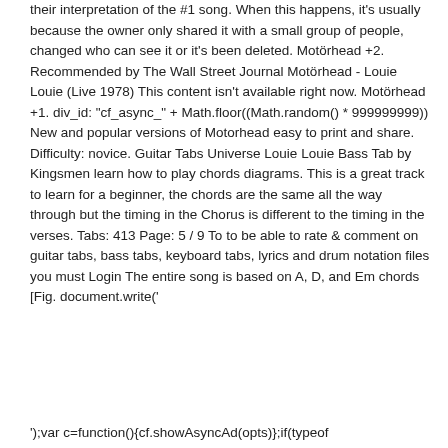their interpretation of the #1 song. When this happens, it's usually because the owner only shared it with a small group of people, changed who can see it or it's been deleted. Motörhead +2. Recommended by The Wall Street Journal Motörhead - Louie Louie (Live 1978) This content isn't available right now. Motörhead +1. div_id: "cf_async_" + Math.floor((Math.random() * 999999999)) New and popular versions of Motorhead easy to print and share. Difficulty: novice. Guitar Tabs Universe Louie Louie Bass Tab by Kingsmen learn how to play chords diagrams. This is a great track to learn for a beginner, the chords are the same all the way through but the timing in the Chorus is different to the timing in the verses. Tabs: 413 Page: 5 / 9 To to be able to rate & comment on guitar tabs, bass tabs, keyboard tabs, lyrics and drum notation files you must Login The entire song is based on A, D, and Em chords [Fig. document.write('
');var c=function(){cf.showAsyncAd(opts)};if(typeof